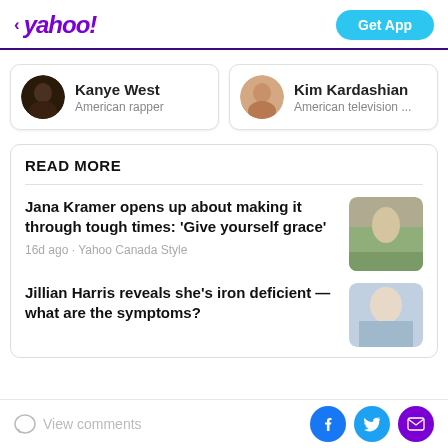< yahoo!  Get App
[Figure (infographic): Kanye West profile card with avatar, name and description 'American rapper']
[Figure (infographic): Kim Kardashian profile card with avatar, name and description 'American television ...']
READ MORE
Jana Kramer opens up about making it through tough times: 'Give yourself grace'
16d ago · Yahoo Canada Style
Jillian Harris reveals she's iron deficient — what are the symptoms?
View comments